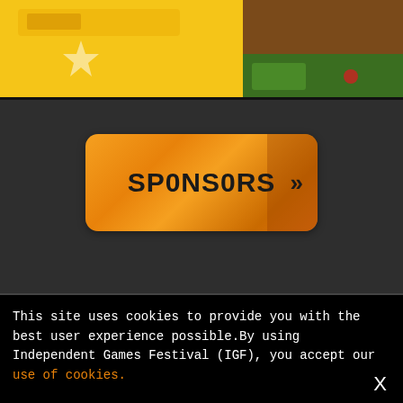[Figure (illustration): Top portion of a game banner with yellow/orange pixelated background on the left side and brown/green game scene on the right side]
[Figure (infographic): Orange sponsors button with bold black text 'SPONSORS' and double chevron '>>' on the right, with darker orange panel on the right side]
This site uses cookies to provide you with the best user experience possible.By using Independent Games Festival (IGF), you accept our use of cookies.